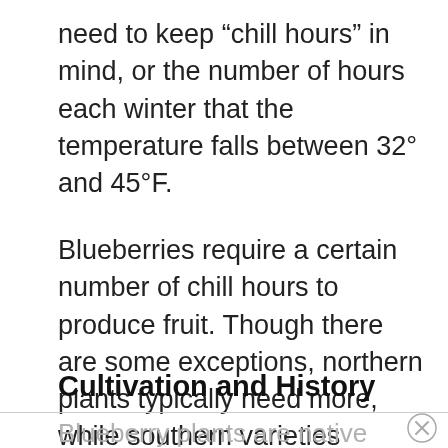need to keep “chill hours” in mind, or the number of hours each winter that the temperature falls between 32° and 45°F.
Blueberries require a certain number of chill hours to produce fruit. Though there are some exceptions, northern plants typically need more, while southern varieties require fewer chill hours.
Cultivation and History
Blueberry plants are native to eastern